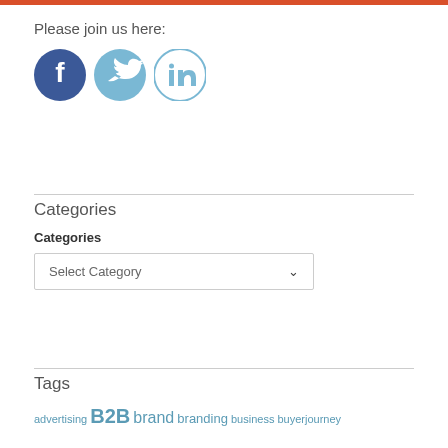[Figure (illustration): Orange/red horizontal bar at top of page]
Please join us here:
[Figure (illustration): Three social media icons in circles: Facebook (dark blue), Twitter (light blue), LinkedIn (light blue outline)]
Categories
Categories
Select Category
Tags
advertising B2B brand branding business buyerjourney